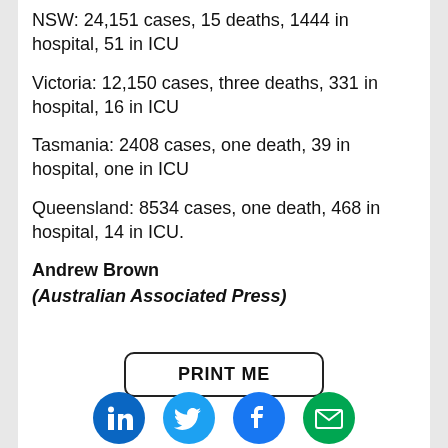NSW: 24,151 cases, 15 deaths, 1444 in hospital, 51 in ICU
Victoria: 12,150 cases, three deaths, 331 in hospital, 16 in ICU
Tasmania: 2408 cases, one death, 39 in hospital, one in ICU
Queensland: 8534 cases, one death, 468 in hospital, 14 in ICU.
Andrew Brown
(Australian Associated Press)
[Figure (other): PRINT ME button with rounded rectangle border]
[Figure (other): Social media icons: LinkedIn (blue), Twitter (light blue), Facebook (blue), Email (green)]